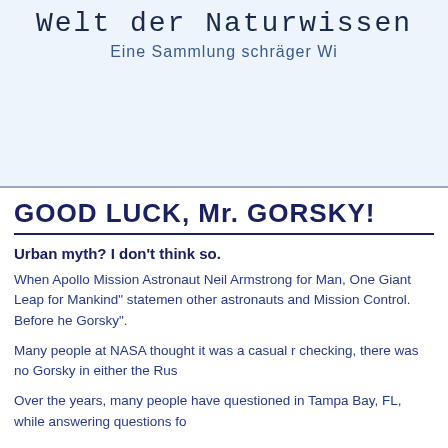Welt der Naturwissen
Eine Sammlung schräger Wi
GOOD LUCK, Mr. GORSKY!
Urban myth? I don't think so.
When Apollo Mission Astronaut Neil Armstrong for Man, One Giant Leap for Mankind" statemen other astronauts and Mission Control. Before he Gorsky".
Many people at NASA thought it was a casual r checking, there was no Gorsky in either the Rus
Over the years, many people have questioned in Tampa Bay, FL, while answering questions fo